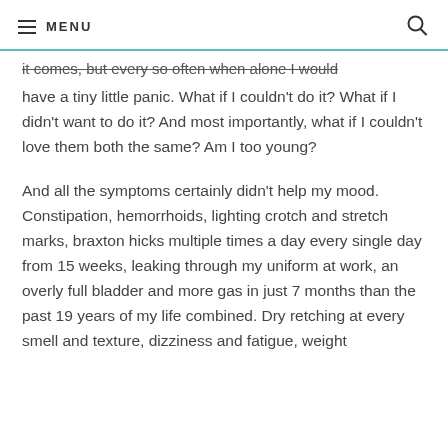MENU
it comes, but every so often when alone I would have a tiny little panic. What if I couldn't do it? What if I didn't want to do it? And most importantly, what if I couldn't love them both the same? Am I too young?
And all the symptoms certainly didn't help my mood. Constipation, hemorrhoids, lighting crotch and stretch marks, braxton hicks multiple times a day every single day from 15 weeks, leaking through my uniform at work, an overly full bladder and more gas in just 7 months than the past 19 years of my life combined. Dry retching at every smell and texture, dizziness and fatigue, weight